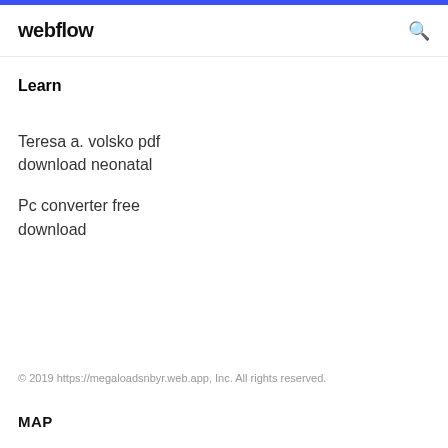webflow
Learn
Teresa a. volsko pdf download neonatal
Pc converter free download
© 2019 https://megaloadsnbyr.web.app, Inc. All rights reserved.
MAP